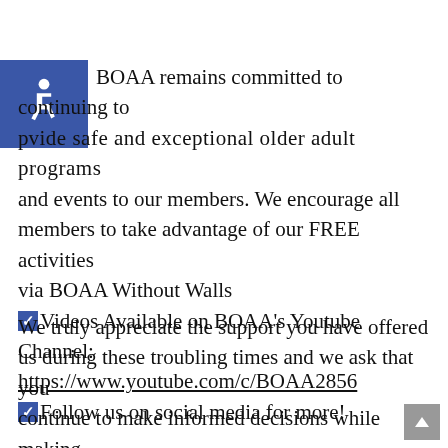[Figure (illustration): Blue square with white wheelchair accessibility icon]
BOAA remains committed to continuing to provide safe and exceptional older adult programs and events to our members. We encourage all members to take advantage of our FREE activities via BOAA Without Walls ✅Videos Available on BOAA's Youtube Channel: https://www.youtube.com/c/BOAA2856 ✅Follow us on social media for more!
We truly appreciate the support you have offered us during these troubling times and we ask that you continue to make informed decisions while making sure you are always looking out for your health and safety. Reach out to us if you have questions or